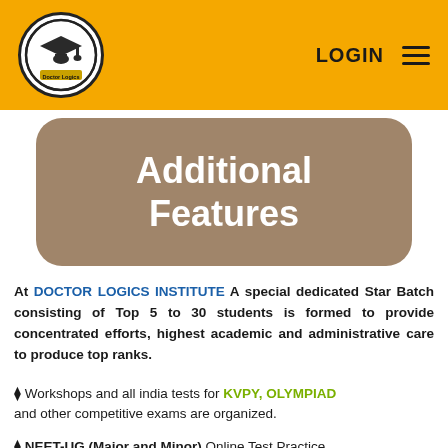[Figure (logo): Doctor Logics Institute logo — graduation cap inside an oval with a banner, inside an orange header bar with LOGIN text and hamburger menu icon]
Additional Features
At DOCTOR LOGICS INSTITUTE A special dedicated Star Batch consisting of Top 5 to 30 students is formed to provide concentrated efforts, highest academic and administrative care to produce top ranks.
⬡ Workshops and all india tests for KVPY, OLYMPIAD and other competitive exams are organized.
⬡ NEET-UG (Major and Minor) Online Test Practice.